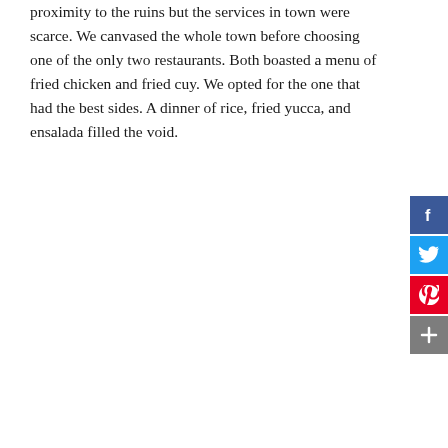proximity to the ruins but the services in town were scarce. We canvased the whole town before choosing one of the only two restaurants. Both boasted a menu of fried chicken and fried cuy. We opted for the one that had the best sides. A dinner of rice, fried yucca, and ensalada filled the void.
[Figure (other): Social sharing buttons: Facebook (blue), Twitter (light blue), Pinterest (red), Share/More (gray)]